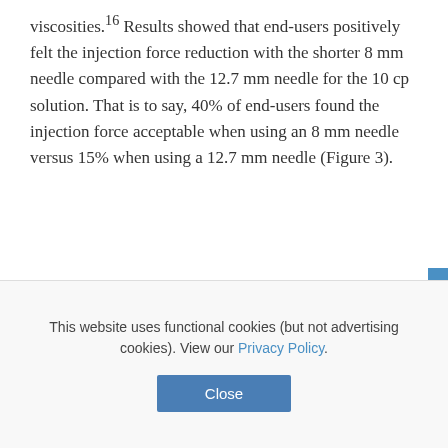viscosities.¹⁶ Results showed that end-users positively felt the injection force reduction with the shorter 8 mm needle compared with the 12.7 mm needle for the 10 cp solution. That is to say, 40% of end-users found the injection force acceptable when using an 8 mm needle versus 15% when using a 12.7 mm needle (Figure 3).
Figure 3: End-user injection force acceptance is enhanced with 8mm needle.
To address the specific needs of pharma companies developing viscous/ high volume (2.25 mL) biologics, BD has launched and industrialised a short 8 mm
This website uses functional cookies (but not advertising cookies). View our Privacy Policy.